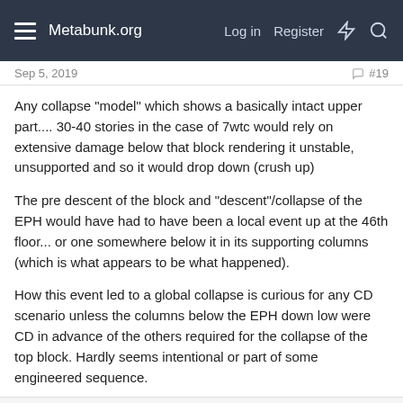Metabunk.org  Log in  Register
Sep 5, 2019  #19
Any collapse "model" which shows a basically intact upper part.... 30-40 stories in the case of 7wtc would rely on extensive damage below that block rendering it unstable, unsupported and so it would drop down (crush up)
The pre descent of the block and "descent"/collapse of the EPH would have had to have been a local event up at the 46th floor... or one somewhere below it in its supporting columns (which is what appears to be what happened).
How this event led to a global collapse is curious for any CD scenario unless the columns below the EPH down low were CD in advance of the others required for the collapse of the top block. Hardly seems intentional or part of some engineered sequence.
Oystein